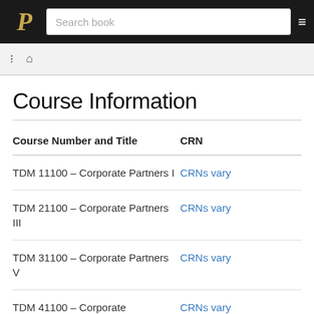P  Search book  ≡
Course Information
| Course Number and Title | CRN |
| --- | --- |
| TDM 11100 – Corporate Partners I | CRNs vary |
| TDM 21100 – Corporate Partners III | CRNs vary |
| TDM 31100 – Corporate Partners V | CRNs vary |
| TDM 41100 – Corporate | CRNs vary |